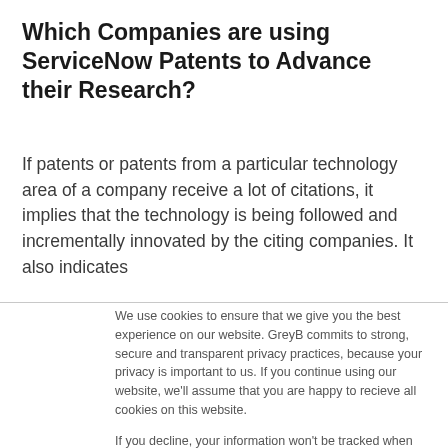Which Companies are using ServiceNow Patents to Advance their Research?
If patents or patents from a particular technology area of a company receive a lot of citations, it implies that the technology is being followed and incrementally innovated by the citing companies. It also indicates
We use cookies to ensure that we give you the best experience on our website. GreyB commits to strong, secure and transparent privacy practices, because your privacy is important to us. If you continue using our website, we'll assume that you are happy to recieve all cookies on this website.
If you decline, your information won't be tracked when you visit this website. A single cookie will be used in your browser to remember your preference not to be tracked.